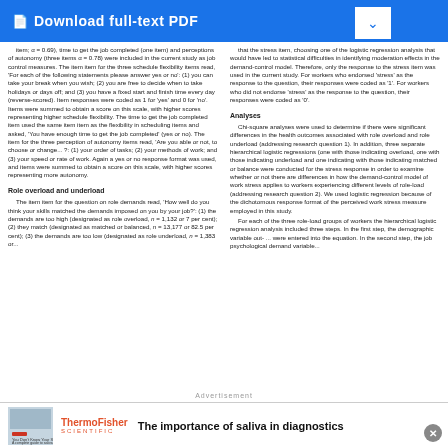Download full-text PDF
item; α = 0.69), time to get the job completed (one item) and perceptions of autonomy (three items α = 0.78) were included in the current study as job control measures. The item item for the three schedule flexibility items read, 'For each of the following statements please answer yes or no': (1) you can take your break when you wish; (2) you are free to decide when to take holidays or days off; and (3) you have a fixed start and finish time every day (reverse-scored). Item responses were coded as 1 for 'yes' and 0 for 'no'. Items were summed to obtain a score on this scale, with higher scores representing higher schedule flexibility. The time to get the job completed item used the same item item as the flexibility in scheduling items and asked, 'You have enough time to get the job completed' (yes or no). The item for the three perception of autonomy items read, 'Are you able or not, to choose or change... ?: (1) your order of tasks; (2) your methods of work; and (3) your speed or rate of work. Again a yes or no response format was used, and items were summed to obtain a score on this scale, with higher scores representing more autonomy.
Role overload and underload
The item item for the question on role demands read, 'How well do you think your skills matched the demands imposed on you by your job?': (1) the demands are too high (designated as role overload, n = 1,132 or 7 per cent); (2) they match (designated as matched or balanced, n = 13,177 or 82.5 per cent); (3) the demands are too low (designated as role underload, n = 1,383 or...
that the stress item, choosing one of the logistic regression analysis that would have led to statistical difficulties in identifying moderation effects in the demand-control model. Therefore, only the response to the stress item was used in the current study. For workers who endorsed 'stress' as the response to the question, their responses were coded as '1'. For workers who did not endorse 'stress' as the response to the question, their responses were coded as '0'.
Analyses
Chi-square analyses were used to determine if there were significant differences in the health outcomes associated with role overload and role underload (addressing research question 1). In addition, three separate hierarchical logistic regressions (one with those indicating overload, one with those indicating underload and one indicating with those indicating matched or balance were conducted for the stress response in order to examine whether or not there are differences in how the demand-control model of work stress applies to workers experiencing different levels of role-load (addressing research question 2). We used logistic regression because of the dichotomous response format of the perceived work stress measure employed in this study.
For each of the three role-load groups of workers the hierarchical logistic regression analysis included three steps. In the first step, the demographic variable out- ... were entered into the equation. In the second step, the job psychological demand variable...
[Figure (infographic): Advertisement showing ThermoFisher Scientific branding with an image of laboratory equipment and text 'The importance of saliva in diagnostics']